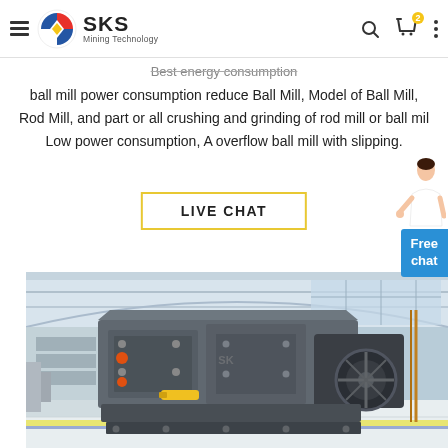SKS Mining Technology — navigation header with logo, search, cart, and menu icons
Best energy consumption
ball mill power consumption reduce Ball Mill, Model of Ball Mill, Rod Mill, and part or all crushing and grinding of rod mill or ball mil Low power consumption, A overflow ball mill with slipping.
LIVE CHAT
[Figure (photo): Large grey industrial jaw crusher / ball mill machine on a factory floor inside a large industrial warehouse with steel structure roof and large windows]
Free chat